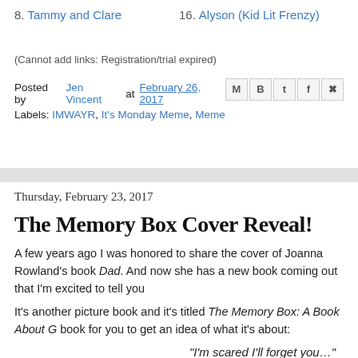8. Tammy and Clare
16. Alyson (Kid Lit Frenzy)
(Cannot add links: Registration/trial expired)
Posted by Jen Vincent at February 26, 2017
Labels: IMWAYR, It's Monday Meme, Meme
Thursday, February 23, 2017
The Memory Box Cover Reveal!
A few years ago I was honored to share the cover of Joanna Rowland's book Dad. And now she has a new book coming out that I'm excited to tell you about.
It's another picture book and it's titled The Memory Box: A Book About G... book for you to get an idea of what it's about:
"I'm scared I'll forget you…"
From the perspective of a young child, Joanna Rowland thoughtfully...